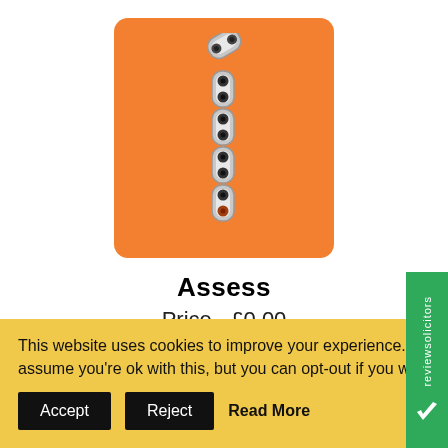[Figure (illustration): Bicycle chain links arranged to form the number 1, on an orange rounded-rectangle background]
Assess
Price - £0.00
Before we take on a case we always want to establish what the right kind of application is for you and th...
This website uses cookies to improve your experience. assume you're ok with this, but you can opt-out if you w...
[Figure (logo): reviewsolicitors green badge with white text and checkmark logo]